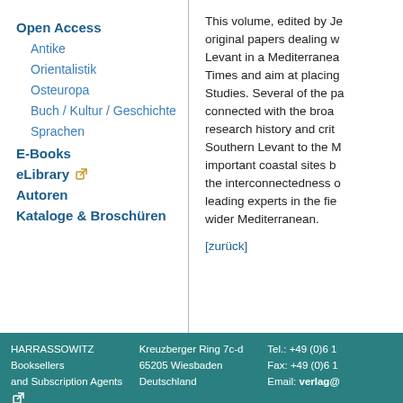Open Access
Antike
Orientalistik
Osteuropa
Buch / Kultur / Geschichte
Sprachen
E-Books
eLibrary [external link icon]
Autoren
Kataloge & Broschüren
This volume, edited by Je original papers dealing w Levant in a Mediterranea Times and aim at placing Studies. Several of the pa connected with the broa research history and crit Southern Levant to the M important coastal sites b the interconnectedness leading experts in the fie wider Mediterranean.
[zurück]
HARRASSOWITZ Booksellers and Subscription Agents [external link] Copyright © 2005-2022 | Kreuzberger Ring 7c-d 65205 Wiesbaden Deutschland | Tel.: +49 (0)6 1 Fax: +49 (0)6 1 Email: verlag@